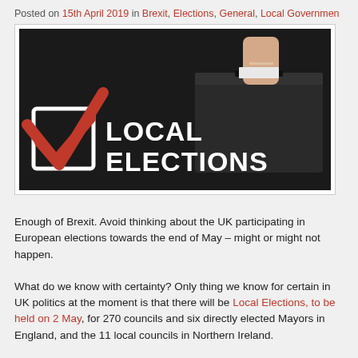Posted on 15th April 2019 in Brexit, Elections, General, Local Government
[Figure (photo): Dark background image showing a hand inserting a ballot into a ballot box, with the text 'LOCAL ELECTIONS' in large white letters and a red checkmark in a checkbox on the left side.]
Enough of Brexit. Avoid thinking about the UK participating in European elections towards the end of May – might or might not happen.
What do we know with certainty? Only thing we know for certain in UK politics at the moment is that there will be Local Elections, to be held on 2 May, for 270 councils and six directly elected Mayors in England, and the 11 local councils in Northern Ireland.
It is highly likely national politics will dominate commentary on the local elections in England, particularly on the results and what they will be believed to mean (in a Brexit context, no doubt). Read more...